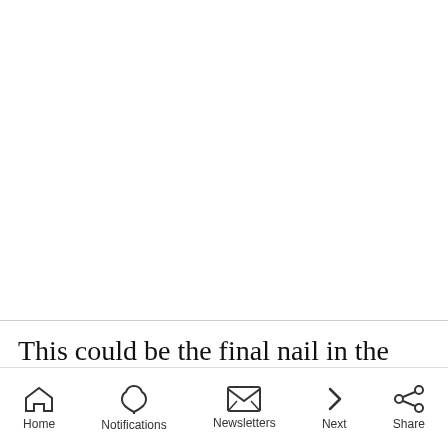This could be the final nail in the coffin for crypto exchanges in India that have reported a
Home  Notifications  Newsletters  Next  Share